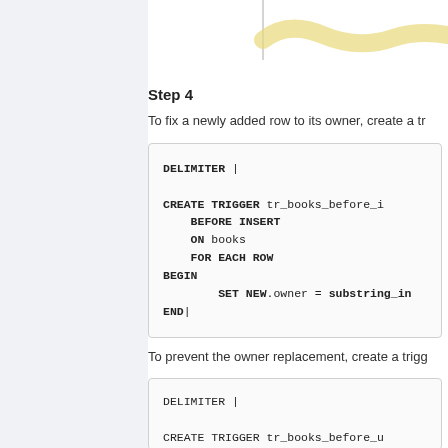[Figure (continuous-plot): Partial chart visible at top, showing a wavy yellow/beige line curve on white background]
Step 4
To fix a newly added row to its owner, create a tr
[Figure (screenshot): Code block showing SQL trigger: DELIMITER | CREATE TRIGGER tr_books_before_i BEFORE INSERT ON books FOR EACH ROW BEGIN SET NEW.owner = substring_in END| DELIMITER ;]
To prevent the owner replacement, create a trigg
[Figure (screenshot): Second code block showing: DELIMITER | CREATE TRIGGER tr_books_before_u]